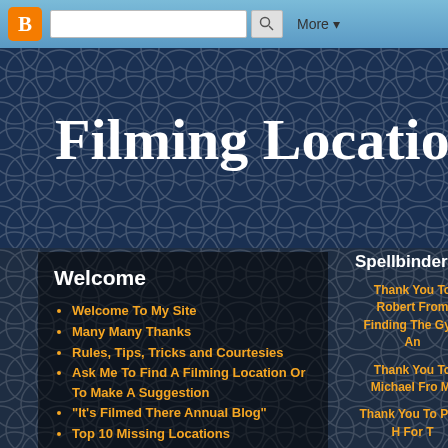Blogger navigation bar with search and More button
Filming Locations of
Welcome
Welcome To My Site
Many Many Thanks
Rules, Tips, Tricks and Courtesies
Ask Me To Find A Filming Location Or To Make A Suggestion
"It's Filmed There Annual Blog"
Top 10 Missing Locations
Recent Additions To The Site
Spellbinder
Thank You To Robert From Finding The Gym An
Thank You To Michael Fro Mi
Thank You To Paul H For T
(0:01)  Palisades Club P